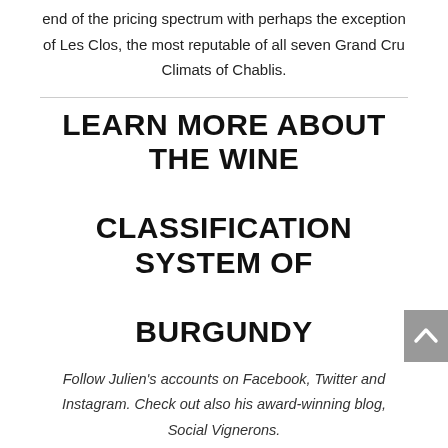end of the pricing spectrum with perhaps the exception of Les Clos, the most reputable of all seven Grand Cru Climats of Chablis.
LEARN MORE ABOUT THE WINE CLASSIFICATION SYSTEM OF BURGUNDY
Follow Julien's accounts on Facebook, Twitter and Instagram. Check out also his award-winning blog, Social Vignerons.